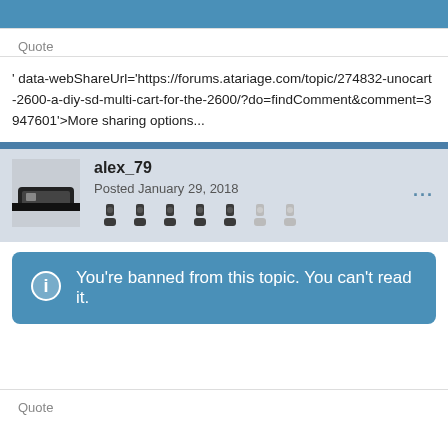[Figure (screenshot): Blue header bar at top of forum post]
Quote
' data-webShareUrl='https://forums.atariage.com/topic/274832-unocart-2600-a-diy-sd-multi-cart-for-the-2600/?do=findComment&comment=3947601'>More sharing options...
alex_79
Posted January 29, 2018
You're banned from this topic. You can't read it.
Quote